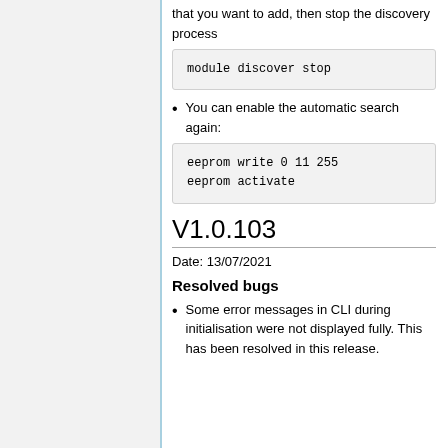that you want to add, then stop the discovery process
module discover stop
You can enable the automatic search again:
eeprom write 0 11 255
eeprom activate
V1.0.103
Date: 13/07/2021
Resolved bugs
Some error messages in CLI during initialisation were not displayed fully. This has been resolved in this release.